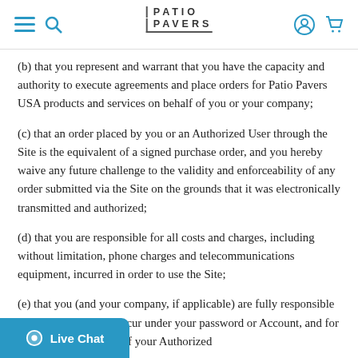PATIO PAVERS
(b) that you represent and warrant that you have the capacity and authority to execute agreements and place orders for Patio Pavers USA products and services on behalf of you or your company;
(c) that an order placed by you or an Authorized User through the Site is the equivalent of a signed purchase order, and you hereby waive any future challenge to the validity and enforceability of any order submitted via the Site on the grounds that it was electronically transmitted and authorized;
(d) that you are responsible for all costs and charges, including without limitation, phone charges and telecommunications equipment, incurred in order to use the Site;
(e) that you (and your company, if applicable) are fully responsible for all activities that occur under your password or Account, and for any acts or omissions of your Authorized